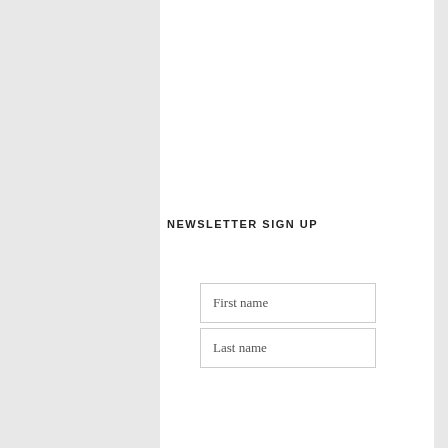[Figure (photo): A promotional image for a Plant-Based Budget Meal Plan showing a plate of spaghetti with lentil bolognese and herb garnish, pasta sticks, blue cloth, wooden cutting board, and a bowl of seeds/lentils. Red banner reads 'TIGHT BUDGET? LET US HELP YOU DURING THIS PANDEMIC'. Bottom has white torn paper with 'PLANT-BASED BUDGET MEAL PLAN' and a green circle badge reading 'SAVE MONEY BY BATCH COOKING WITH PANTRY STAPLES AT HOME'.]
NEWSLETTER SIGN UP
First name
Last name